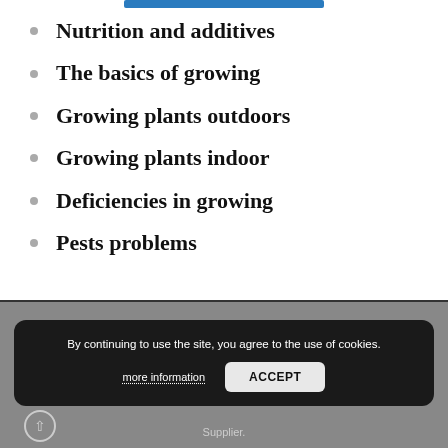Nutrition and additives
The basics of growing
Growing plants outdoors
Growing plants indoor
Deficiencies in growing
Pests problems
By continuing to use the site, you agree to the use of cookies.
more information
ACCEPT